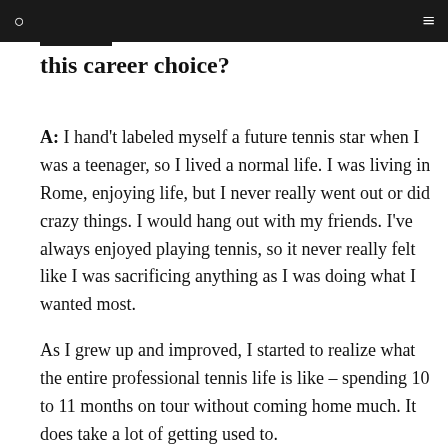this career choice?
A: I hand't labeled myself a future tennis star when I was a teenager, so I lived a normal life. I was living in Rome, enjoying life, but I never really went out or did crazy things. I would hang out with my friends. I've always enjoyed playing tennis, so it never really felt like I was sacrificing anything as I was doing what I wanted most.
As I grew up and improved, I started to realize what the entire professional tennis life is like – spending 10 to 11 months on tour without coming home much. It does take a lot of getting used to.